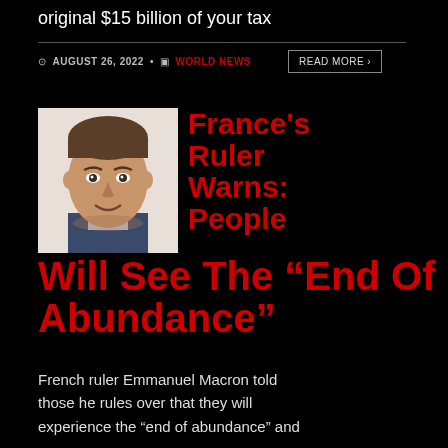original $15 billion of your tax
AUGUST 26, 2022 • WORLD NEWS
READ MORE >
[Figure (photo): Headshot of Emmanuel Macron, wearing a dark suit with light blue shirt, smiling slightly, against a white background]
France's Ruler Warns: People Will See The “End Of Abundance”
French ruler Emmanuel Macron told those he rules over that they will experience the “end of abundance” and